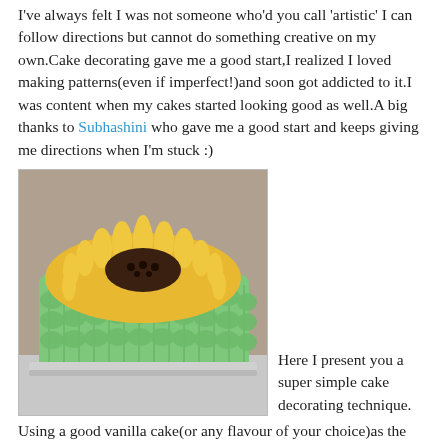I've always felt I was not someone who'd you call 'artistic' I can follow directions but cannot do something creative on my own.Cake decorating gave me a good start,I realized I loved making patterns(even if imperfect!)and soon got addicted to it.I was content when my cakes started looking good as well.A big thanks to Subhashini who gave me a good start and keeps giving me directions when I'm stuck :)
[Figure (photo): A decorated cake with green buttercream leaf-tip pattern on the sides and yellow sunflower-like piping on top with dark brown center, sitting on a metallic board.]
Here I present you a super simple cake decorating technique.Using a good vanilla cake(or any flavour of your choice)as the base,some buttercream and 2 leaf tips you can create a stunning Sunflower Cake for your loved ones.Don't tell them it is so easy to make ;)
[Figure (photo): Partial view of another decorated cake, bottom of page.]